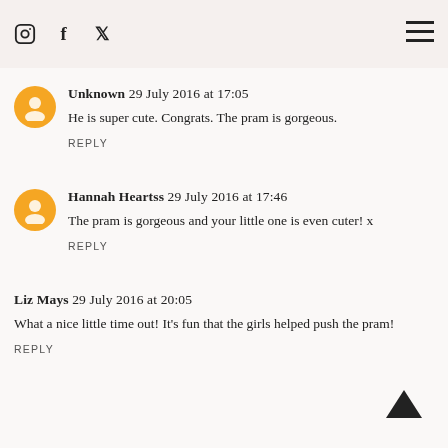Instagram, Facebook, Twitter icons and hamburger menu
Unknown 29 July 2016 at 17:05
He is super cute. Congrats. The pram is gorgeous.
REPLY
Hannah Heartss 29 July 2016 at 17:46
The pram is gorgeous and your little one is even cuter! x
REPLY
Liz Mays 29 July 2016 at 20:05
What a nice little time out! It's fun that the girls helped push the pram!
REPLY